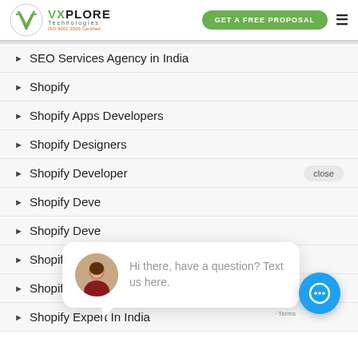VXPLORE Technologies | GET A FREE PROPOSAL
SEO Services Agency in India
Shopify
Shopify Apps Developers
Shopify Designers
Shopify Developer
Shopify Deve[lopment] (truncated)
Shopify Deve[lopment] (truncated)
Shopify developers
Shopify Expert
Shopify Expert In India
[Figure (screenshot): Chat widget overlay showing avatar of a woman and the text 'Hi there, have a question? Text us here.' with a close button and blue chat icon button]